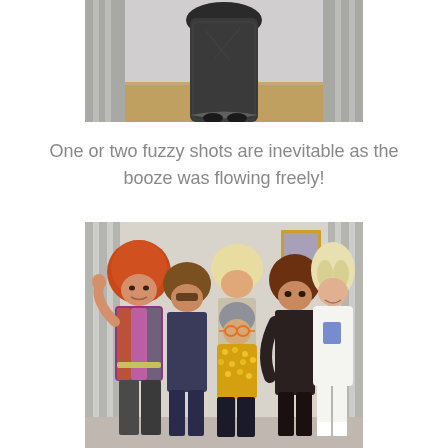[Figure (photo): A photo showing the lower half of people in sparkly/sequined costumes standing on a wooden floor with grey curtains in the background — a partial/cropped shot showing only legs and the bottom of dresses]
One or two fuzzy shots are inevitable as the booze was flowing freely!
[Figure (photo): A group photo of six people in 1970s disco-themed fancy dress costumes including sparkly jumpsuits, afro wigs, gold sequin jacket, and a white dress, posing together in front of grey curtains with a framed picture on the wall]